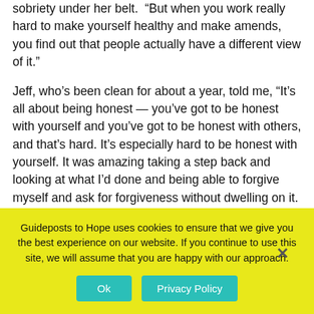sobriety under her belt.  “But when you work really hard to make yourself healthy and make amends, you find out that people actually have a different view of it.”
Jeff, who’s been clean for about a year, told me, “It’s all about being honest — you’ve got to be honest with yourself and you’ve got to be honest with others, and that’s hard. It’s especially hard to be honest with yourself. It was amazing taking a step back and looking at what I’d done and being able to forgive myself and ask for forgiveness without dwelling on it. You’ve just got to let it go. My fellow addicts helped me to do that with their stories. I didn’t expect any of that to come out of it.”
Guideposts to Hope uses cookies to ensure that we give you the best experience on our website. If you continue to use this site, we will assume that you are happy with our approach.